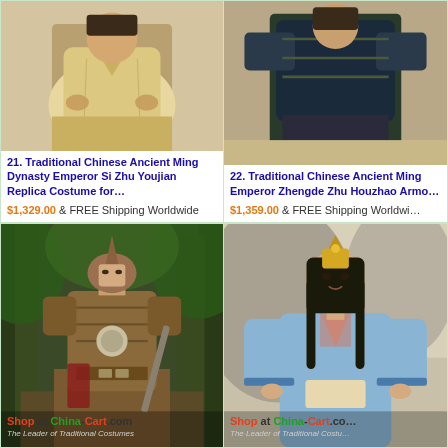[Figure (photo): Person in traditional Chinese Ming Dynasty emperor costume, cream/gold robe, seated]
21. Traditional Chinese Ancient Ming Dynasty Emperor Si Zhu Youjian Replica Costume for…
$1,329.00 & FREE Shipping Worldwide
[Figure (photo): Traditional Chinese ancient Ming Emperor Zhengde Zhu Houzhao armor costume, dark armored outfit]
22. Traditional Chinese Ancient Ming Emperor Zhengde Zhu Houzhao Armo…
$1,359.00 & FREE Shipping Worldwi…
[Figure (photo): Actor in bronze/brown Chinese warrior armor costume with helmet, outdoor forest setting, Shop at China-Cart.com watermark]
[Figure (photo): Young man in light blue traditional Chinese hanfu costume, Shop at China-Cart watermark]